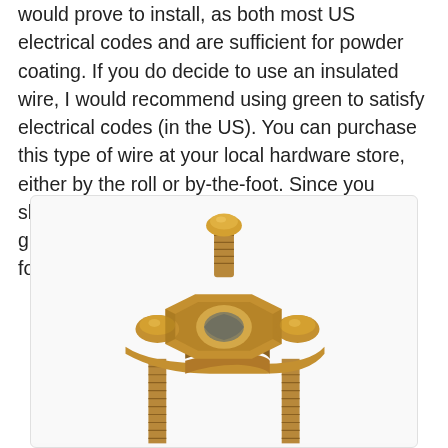would prove to install, as both most US electrical codes and are sufficient for powder coating. If you do decide to use an insulated wire, I would recommend using green to satisfy electrical codes (in the US). You can purchase this type of wire at your local hardware store, either by the roll or by-the-foot. Since you should have a very short run between the ground rod and powder coating area, by-the-foot will likely be the cheapest option.
[Figure (photo): A bronze/copper ground rod clamp hardware fitting with three dome-headed bolts and two threaded rods extending downward, used for electrical grounding connections.]